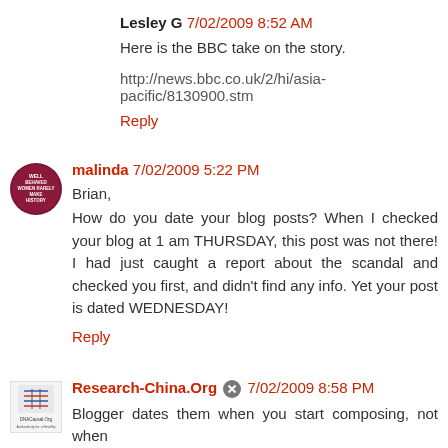Lesley G  7/02/2009 8:52 AM
Here is the BBC take on the story.
http://news.bbc.co.uk/2/hi/asia-pacific/8130900.stm
Reply
[Figure (illustration): Circular avatar badge in dark red/maroon with white text reading 'Well Behaved Women Rarely Make History']
malinda  7/02/2009 5:22 PM
Brian,

How do you date your blog posts? When I checked your blog at 1 am THURSDAY, this post was not there! I had just caught a report about the scandal and checked you first, and didn't find any info. Yet your post is dated WEDNESDAY!
Reply
[Figure (logo): Small square logo for DNACausal.Org with DNA helix graphic]
Research-China.Org  7/02/2009 8:58 PM
Blogger dates them when you start composing, not when